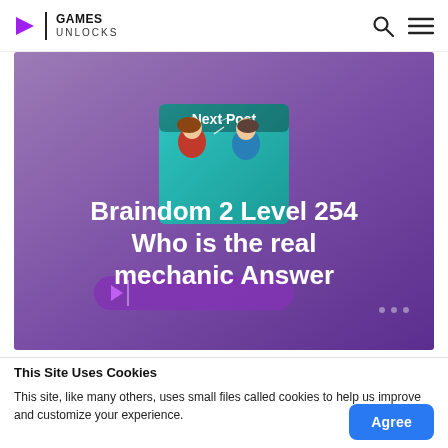GAMES UNLOCKS
[Figure (screenshot): Promotional banner for 'Braindom 2 Level 254 Who is the real mechanic Answer' showing two cartoon characters facing each other on a purple gradient background, with 'Next Post' label and play button overlay]
This Site Uses Cookies
This site, like many others, uses small files called cookies to help us improve and customize your experience.